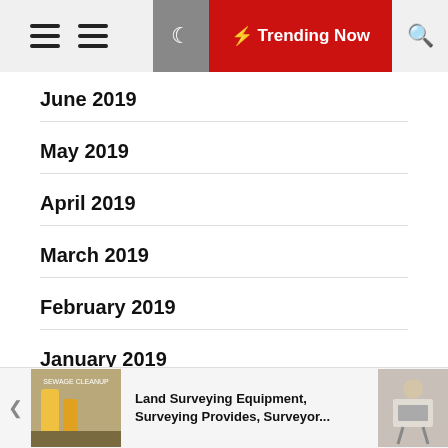Trending Now
June 2019
May 2019
April 2019
March 2019
February 2019
January 2019
December 2018
Land Surveying Equipment, Surveying Provides, Surveyor...